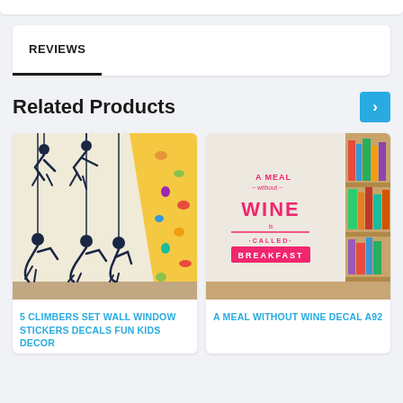REVIEWS
Related Products
[Figure (photo): Product photo of 5 climbers set wall stickers on a climbing wall background]
5 CLIMBERS SET WALL WINDOW STICKERS DECALS FUN KIDS DECOR
[Figure (photo): Product photo of A Meal Without Wine Decal on a wall with bookshelf]
A MEAL WITHOUT WINE DECAL A92